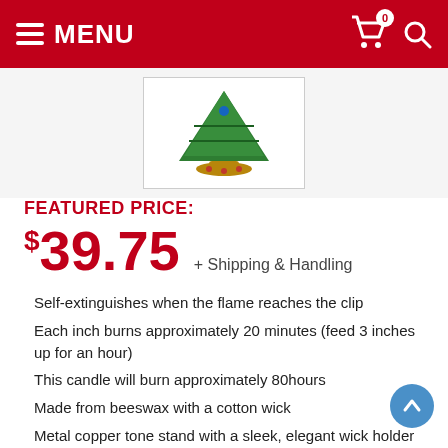MENU
[Figure (photo): Green Christmas Tree candle on copper tone stand, shown in product image box]
FEATURED PRICE:
$39.75 + Shipping & Handling
Self-extinguishes when the flame reaches the clip
Each inch burns approximately 20 minutes (feed 3 inches up for an hour)
This candle will burn approximately 80hours
Made from beeswax with a cotton wick
Metal copper tone stand with a sleek, elegant wick holder
Festive Christmas Tree is a great addition for